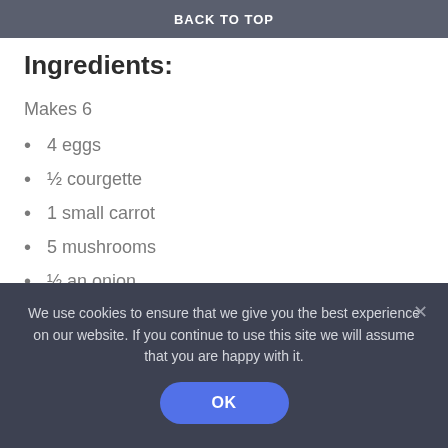BACK TO TOP
Ingredients:
Makes 6
4 eggs
½ courgette
1 small carrot
5 mushrooms
½ an onion
5 cherry tomatoes
1 large handful of spinach
Black pepper (to taste)
We use cookies to ensure that we give you the best experience on our website. If you continue to use this site we will assume that you are happy with it.